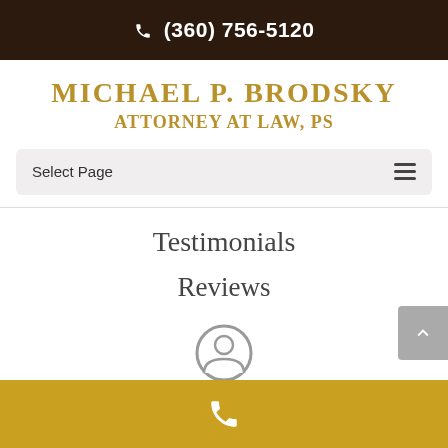(360) 756-5120
Michael P. Brodsky Attorney at Law, PS
Select Page
Testimonials
Reviews
[Figure (other): Avatar/person icon circle outline]
Phone icon